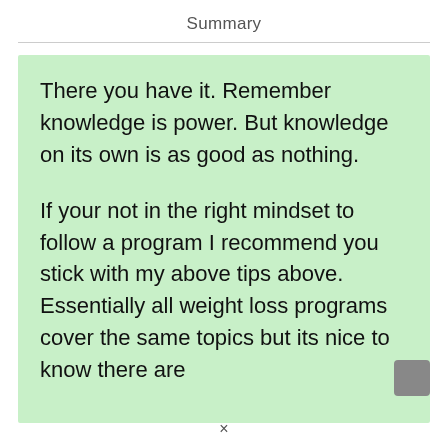Summary
There you have it. Remember knowledge is power. But knowledge on its own is as good as nothing.

If your not in the right mindset to follow a program I recommend you stick with my above tips above. Essentially all weight loss programs cover the same topics but its nice to know there are